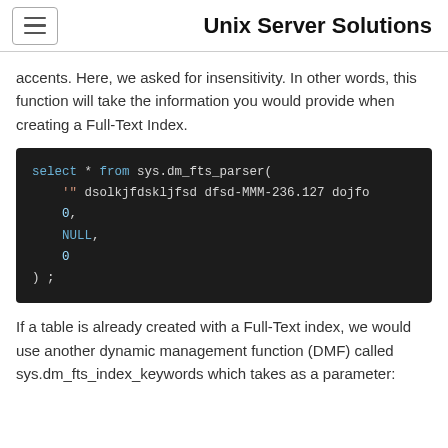Unix Server Solutions
accents. Here, we asked for insensitivity. In other words, this function will take the information you would provide when creating a Full-Text Index.
[Figure (screenshot): Dark-themed code block showing SQL query: select * from sys.dm_fts_parser( '" dsolkjfdskljfsd dfsd-MMM-236.127 dojfo 0, NULL, 0 ) ;]
If a table is already created with a Full-Text index, we would use another dynamic management function (DMF) called sys.dm_fts_index_keywords which takes as a parameter: